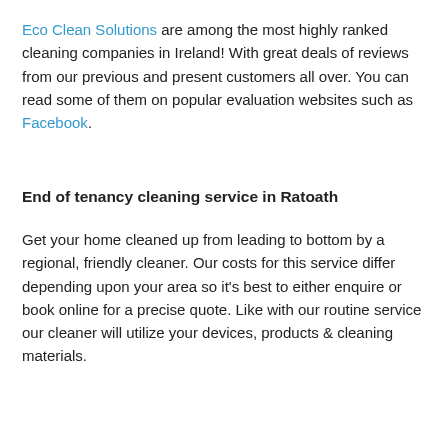Eco Clean Solutions are among the most highly ranked cleaning companies in Ireland! With great deals of reviews from our previous and present customers all over. You can read some of them on popular evaluation websites such as Facebook.
End of tenancy cleaning service in Ratoath
Get your home cleaned up from leading to bottom by a regional, friendly cleaner. Our costs for this service differ depending upon your area so it's best to either enquire or book online for a precise quote. Like with our routine service our cleaner will utilize your devices, products & cleaning materials.
[Figure (other): Gray box with a green phone call button circle icon in the lower portion of the page]